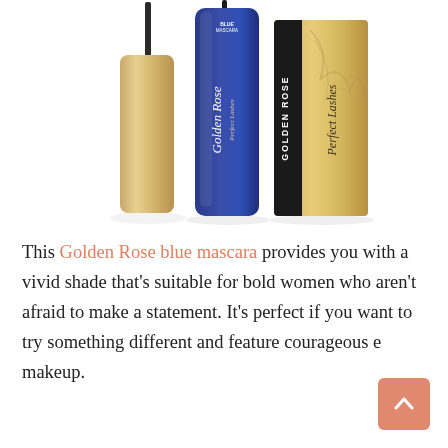[Figure (photo): Golden Rose Perfect Lashes Blue Mascara product photo showing a gold-capped mascara wand/tube on the left, a blue mascara tube in the center labeled 'Golden Rose Perfect Lashes Blue Mascara', and a gold product box on the right labeled 'GOLDEN ROSE Perfect Lashes', all on a white background.]
This Golden Rose blue mascara provides you with a vivid shade that's suitable for bold women who aren't afraid to make a statement. It's perfect if you want to try something different and feature courageous eye makeup.